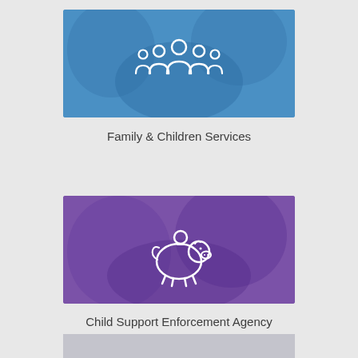[Figure (illustration): Blue banner card with a white family/people group icon (three figures standing together) on a blue photo background showing smiling children and adults]
Family & Children Services
[Figure (illustration): Purple banner card with a white piggy bank icon with a coin on a purple photo background showing smiling children]
Child Support Enforcement Agency